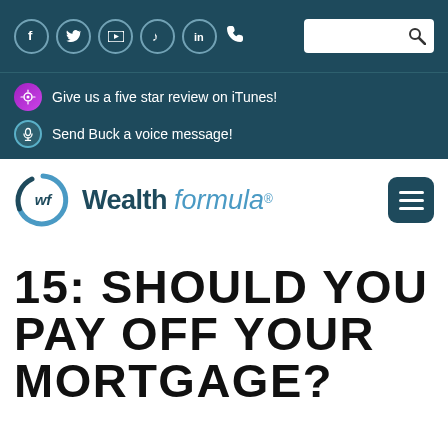Social icons: Facebook, Twitter, YouTube, Music, LinkedIn, Phone | Search bar
Give us a five star review on iTunes!
Send Buck a voice message!
[Figure (logo): Wealth Formula logo with circular wf icon, text reads: Wealth formula® with hamburger menu icon]
15: SHOULD YOU PAY OFF YOUR MORTGAGE?